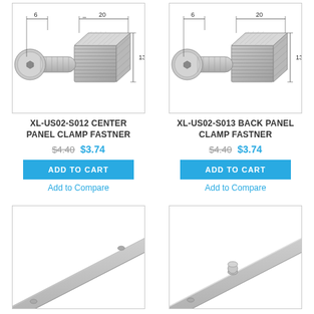[Figure (engineering-diagram): XL-US02-S012 center panel clamp fastener engineering illustration with dimensions, isometric view of bolt and clamp]
[Figure (engineering-diagram): XL-US02-S013 back panel clamp fastener engineering illustration with dimensions, isometric view of bolt and clamp]
XL-US02-S012 CENTER PANEL CLAMP FASTNER
$4.40  $3.74
ADD TO CART
Add to Compare
XL-US02-S013 BACK PANEL CLAMP FASTNER
$4.40  $3.74
ADD TO CART
Add to Compare
[Figure (engineering-diagram): Partial view of a flat metal bar/strip engineering part, elongated, angled view]
[Figure (engineering-diagram): Partial view of a metal bar with pin/post component, engineering part, angled view]